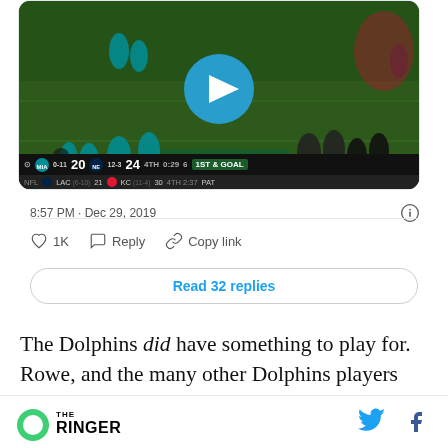[Figure (screenshot): NFL game broadcast screenshot showing Dolphins vs Patriots, score MIA 20 NE 24, 4th quarter 0:29, 1st & Goal. Play button overlay visible. Secondary scoreboard shows LAC 21 KC 30 4TH 2:37 PAT.]
8:57 PM · Dec 29, 2019
1K   Reply   Copy link
Read 32 replies
The Dolphins did have something to play for. Rowe, and the many other Dolphins players and
THE RINGER